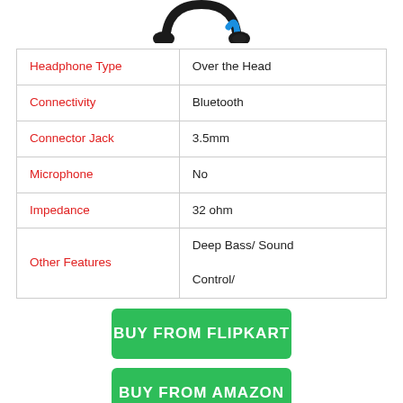[Figure (photo): Partial view of a black and blue Bluetooth headphone, showing the top arc portion against a white background]
| Headphone Type | Over the Head |
| Connectivity | Bluetooth |
| Connector Jack | 3.5mm |
| Microphone | No |
| Impedance | 32 ohm |
| Other Features | Deep Bass/ Sound Control/ |
BUY FROM FLIPKART
BUY FROM AMAZON